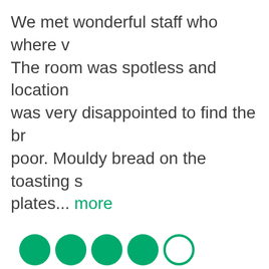We met wonderful staff who where v... The room was spotless and location ... was very disappointed to find the br... poor. Mouldy bread on the toasting s... plates... more
[Figure (other): 4 out of 5 green circle rating (4 filled circles, 1 empty circle)]
Gail C, wrote review 28/07/2022
Lovely stay
Lovely hotel. Very helpful staff. Room...